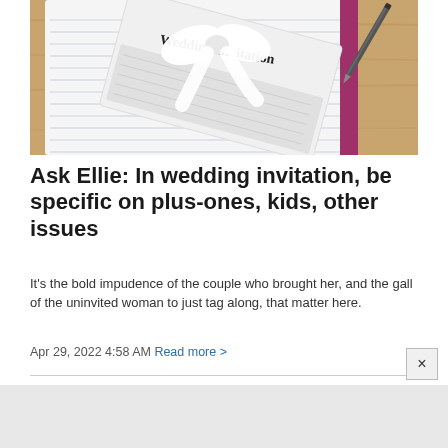[Figure (photo): A wedding invitation card with a white ribbon bow on top, lying on an open lined notebook. A pen is visible in the upper right. The card reads 'Wedding Invitation'. The notebook has a purple/magenta spine. The background is a wooden table surface.]
Ask Ellie: In wedding invitation, be specific on plus-ones, kids, other issues
It's the bold impudence of the couple who brought her, and the gall of the uninvited woman to just tag along, that matter here.
Apr 29, 2022 4:58 AM Read more >